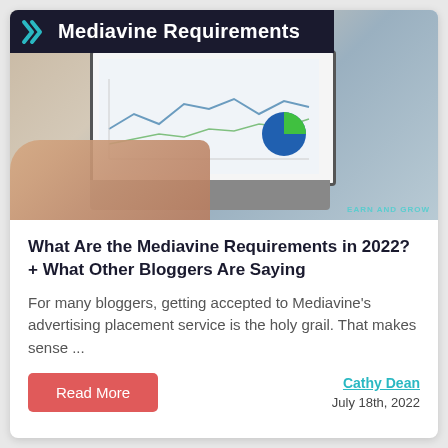[Figure (photo): Person typing on a laptop showing analytics dashboard with line chart and pie chart. Photo has watermark text 'EARN AND GROW' in bottom right.]
What Are the Mediavine Requirements in 2022? + What Other Bloggers Are Saying
For many bloggers, getting accepted to Mediavine's advertising placement service is the holy grail. That makes sense ...
Read More
Cathy Dean
July 18th, 2022